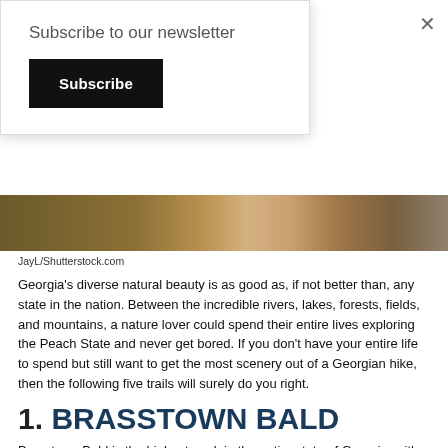Subscribe to our newsletter
Subscribe
[Figure (photo): Close-up photograph of natural rocky and earthy terrain, showing browns and tans — portion of a landscape/nature image.]
JayL/Shutterstock.com
Georgia's diverse natural beauty is as good as, if not better than, any state in the nation. Between the incredible rivers, lakes, forests, fields, and mountains, a nature lover could spend their entire lives exploring the Peach State and never get bored. If you don't have your entire life to spend but still want to get the most scenery out of a Georgian hike, then the following five trails will surely do you right.
1. BRASSTOWN BALD
Brasstown Bald is the highest peak in the entire state of Georgia, with an elevation of 4,700 feet above sea level. The Brasstown Bald hike is around 11 miles-long and is most difficult, with tough terrain and steep rises. For those that make it to the top, however, the